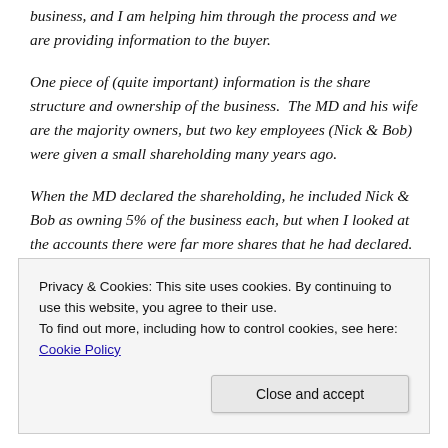business, and I am helping him through the process and we are providing information to the buyer.
One piece of (quite important) information is the share structure and ownership of the business.  The MD and his wife are the majority owners, but two key employees (Nick & Bob) were given a small shareholding many years ago.
When the MD declared the shareholding, he included Nick & Bob as owning 5% of the business each, but when I looked at the accounts there were far more shares that he had declared.
Privacy & Cookies: This site uses cookies. By continuing to use this website, you agree to their use.
To find out more, including how to control cookies, see here: Cookie Policy
The MD had forgotten all about that transaction. It had